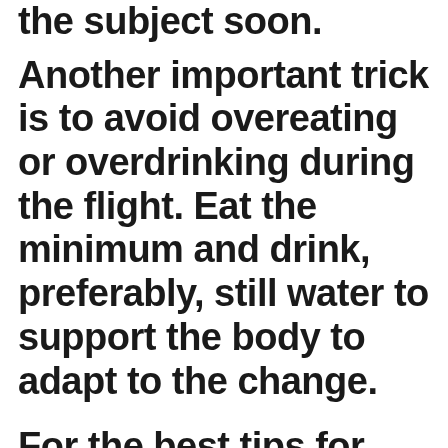the subject soon.
Another important trick is to avoid overeating or overdrinking during the flight. Eat the minimum and drink, preferably, still water to support the body to adapt to the change.
For the best tips for trips nothing like Tips2Trips because they